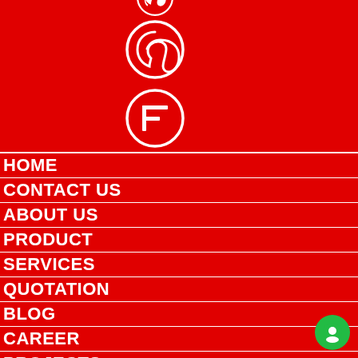[Figure (illustration): Social media icons on red background: Pinterest circle icon and a stylized F (Flipboard or similar) circle icon, white outlines on red]
HOME
CONTACT US
ABOUT US
PRODUCT
SERVICES
QUOTATION
BLOG
CAREER
PROJECTS
SITEMAP